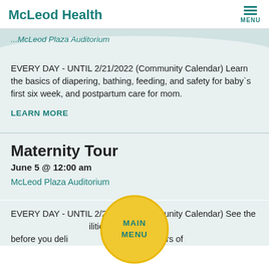McLeod Health
...McLeod Plaza Auditorium
EVERY DAY - UNTIL 2/21/2022 (Community Calendar) Learn the basics of diapering, bathing, feeding, and safety for baby`s first six week, and postpartum care for mom.
LEARN MORE
Maternity Tour
June 5 @ 12:00 am
McLeod Plaza Auditorium
EVERY DAY - UNTIL 2/24/2022 (Community Calendar) See the facilities at McLeod before you deli... 14 years of
MAIN MENU